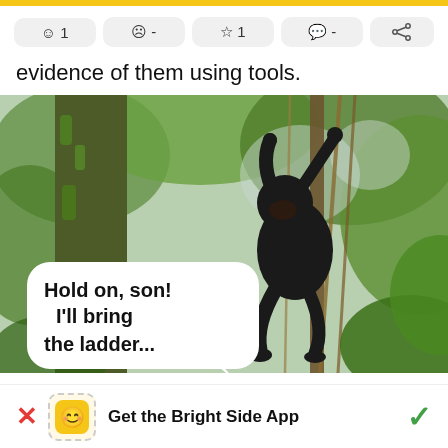[Figure (infographic): App UI top bar with yellow accent, reaction buttons (smiley 1, sad -, star 1, chat -, share), partial text 'evidence of them using tools.', and a meme photo of a gorilla hanging from a vine in a jungle with a speech bubble reading 'Hold on, son! I'll bring the ladder...']
evidence of them using tools.
[Figure (photo): A black gorilla hanging from a vine/rope in a lush green jungle. A white speech bubble overlaid reads: 'Hold on, son! I'll bring the ladder...']
Get the Bright Side App